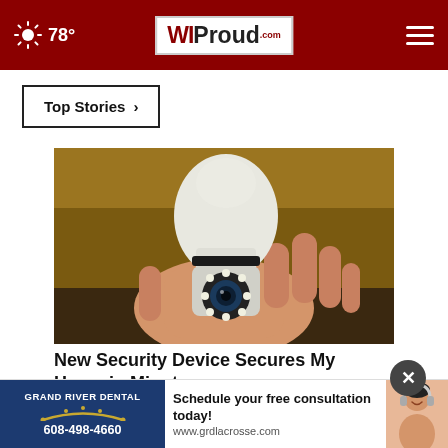78° WIProud.com
Top Stories ›
[Figure (photo): A hand holding a white smart security camera device shaped like a lightbulb with a camera lens and LED lights at the bottom]
New Security Device Secures My Home in Minutes
[Figure (photo): Advertisement banner for Grand River Dental showing phone number 608-498-4660 and website www.grdlacrosse.com with text Schedule your free consultation today!]